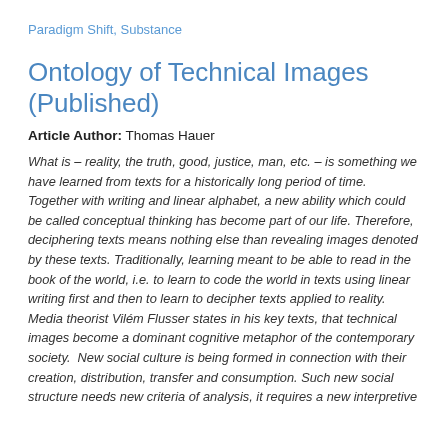Paradigm Shift, Substance
Ontology of Technical Images (Published)
Article Author: Thomas Hauer
What is – reality, the truth, good, justice, man, etc. – is something we have learned from texts for a historically long period of time. Together with writing and linear alphabet, a new ability which could be called conceptual thinking has become part of our life. Therefore, deciphering texts means nothing else than revealing images denoted by these texts. Traditionally, learning meant to be able to read in the book of the world, i.e. to learn to code the world in texts using linear writing first and then to learn to decipher texts applied to reality. Media theorist Vilém Flusser states in his key texts, that technical images become a dominant cognitive metaphor of the contemporary society.  New social culture is being formed in connection with their creation, distribution, transfer and consumption. Such new social structure needs new criteria of analysis, it requires a new interpretive